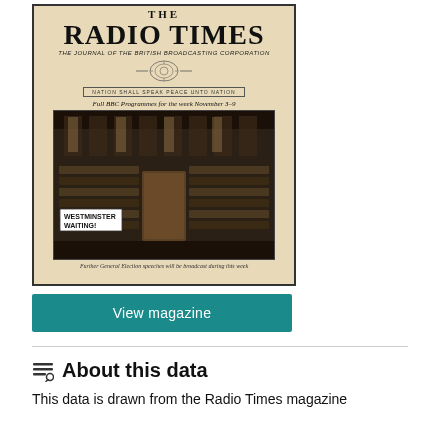[Figure (photo): Cover of The Radio Times magazine — The Journal of the British Broadcasting Corporation. Shows 'Full BBC Programmes for the week November 3-9' with a photo of an empty Westminster chamber interior labeled 'WESTMINSTER WAITING!' and caption 'Further General Election speeches will be broadcast during this week'.]
View magazine
About this data
This data is drawn from the Radio Times magazine